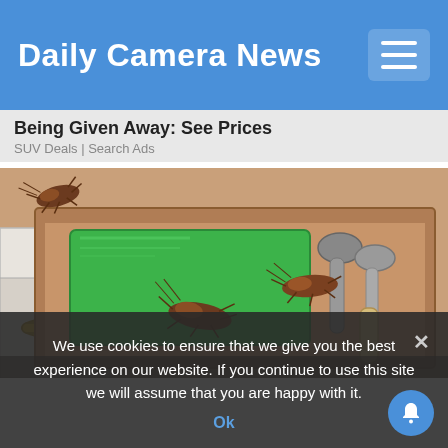Daily Camera News
Being Given Away: See Prices
SUV Deals | Search Ads
[Figure (illustration): Illustration of an open kitchen drawer with cockroaches inside. A green item (box/bag) is in the drawer along with silverware (spoons), and multiple cockroaches are crawling on and around the contents. The drawer has a gold handle. The illustration is comic/cartoon style.]
We use cookies to ensure that we give you the best experience on our website. If you continue to use this site we will assume that you are happy with it.